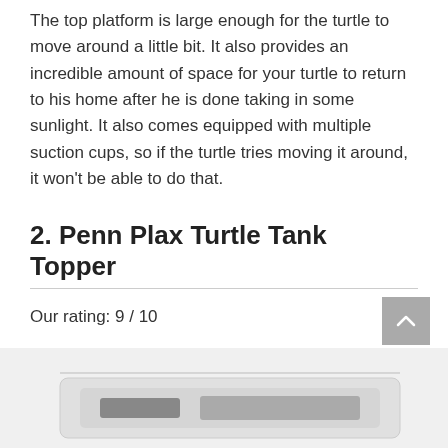The top platform is large enough for the turtle to move around a little bit. It also provides an incredible amount of space for your turtle to return to his home after he is done taking in some sunlight. It also comes equipped with multiple suction cups, so if the turtle tries moving it around, it won't be able to do that.
2. Penn Plax Turtle Tank Topper
Our rating: 9 / 10
[Figure (photo): Partial image of Penn Plax Turtle Tank Topper product at bottom of page]